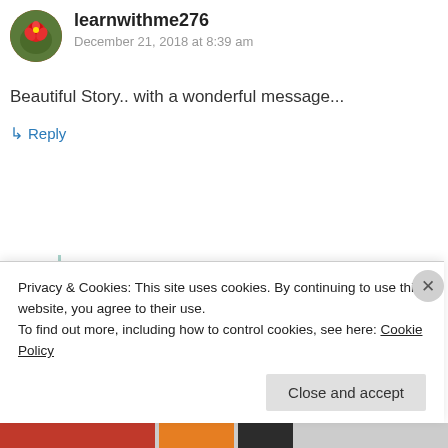learnwithme276
December 21, 2018 at 8:39 am
Beautiful Story.. with a wonderful message...
↳ Reply
[Figure (photo): Circular avatar showing a rose flower with green leaves]
Sunith
December 21, 2018 at 11:42
[Figure (photo): Circular avatar showing pink flowers on branches with blue sky]
Privacy & Cookies: This site uses cookies. By continuing to use this website, you agree to their use.
To find out more, including how to control cookies, see here: Cookie Policy
Close and accept